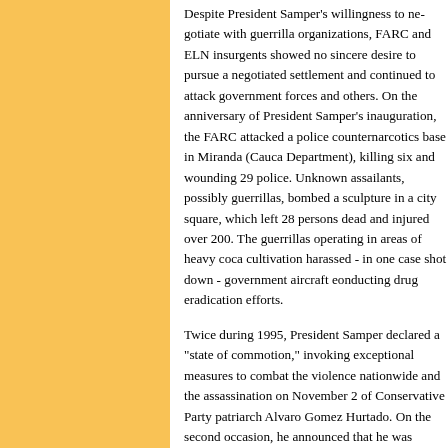Despite President Samper's willingness to negotiate with guerrilla organizations, FARC and ELN insurgents showed no sincere desire to pursue a negotiated settlement and continued to attack government forces and others. On the anniversary of President Samper's inauguration, the FARC attacked a police counternarcotics base in Miranda (Cauca Department), killing six and wounding 29 police. Unknown assailants, possibly guerrillas, bombed a sculpture in a city square, which left 28 persons dead and injured over 200. The guerrillas operating in areas of heavy coca cultivation harassed - in one case shot down - government aircraft conducting drug eradication efforts.
Twice during 1995, President Samper declared a "state of commotion," invoking exceptional measures to combat the violence nationwide and the assassination on November 2 of Conservative Party patriarch Alvaro Gomez Hurtado. On the second occasion, he announced that he was empowering the military commanders of departments (states), and all mayors to authorize recruitment of civilians from municipalities to combat illegal armed groups and guerrilla organizations operating in Colombia.
Guatemala